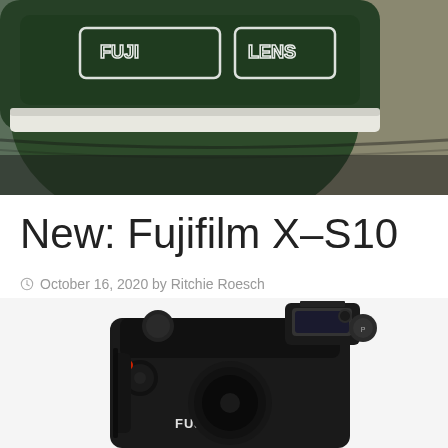[Figure (photo): Close-up photo of a green Fujifilm lens case with white lettering reading FUJI LENS, placed on an olive/khaki fabric background]
New: Fujifilm X-S10
October 16, 2020 by Ritchie Roesch
[Figure (photo): Photo of a black Fujifilm X-S10 mirrorless camera body with FUJIFILM branding visible, showing the top controls and viewfinder]